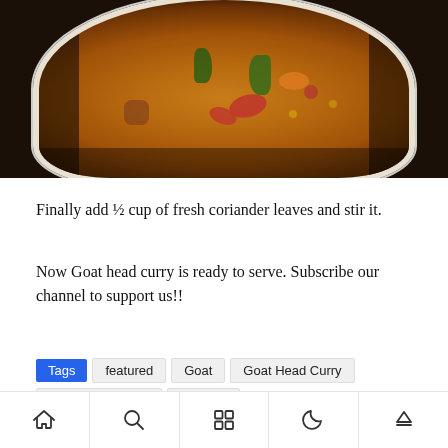[Figure (photo): A white pot/bowl on a stove containing goat head curry — an orange-red curry sauce with visible vegetables including peppers and zucchini]
Finally add ½ cup of fresh coriander leaves and stir it.
Now Goat head curry is ready to serve. Subscribe our channel to support us!!
Tags  featured  Goat  Goat Head Curry  Non Veg Recipes  Recipes